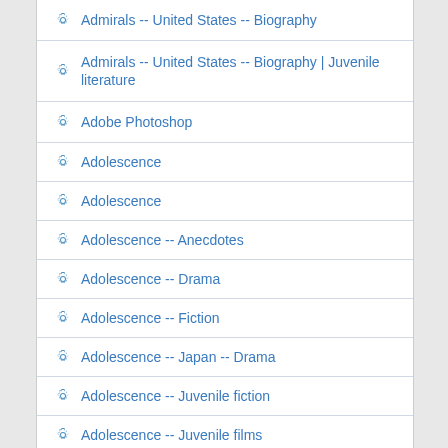Admirals -- United States -- Biography
Admirals -- United States -- Biography | Juvenile literature
Adobe Photoshop
Adolescence
Adolescence
Adolescence -- Anecdotes
Adolescence -- Drama
Adolescence -- Fiction
Adolescence -- Japan -- Drama
Adolescence -- Juvenile fiction
Adolescence -- Juvenile films